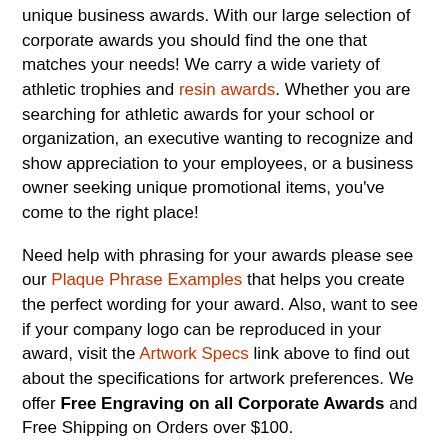unique business awards. With our large selection of corporate awards you should find the one that matches your needs! We carry a wide variety of athletic trophies and resin awards. Whether you are searching for athletic awards for your school or organization, an executive wanting to recognize and show appreciation to your employees, or a business owner seeking unique promotional items, you've come to the right place!
Need help with phrasing for your awards please see our Plaque Phrase Examples that helps you create the perfect wording for your award. Also, want to see if your company logo can be reproduced in your award, visit the Artwork Specs link above to find out about the specifications for artwork preferences. We offer Free Engraving on all Corporate Awards and Free Shipping on Orders over $100.